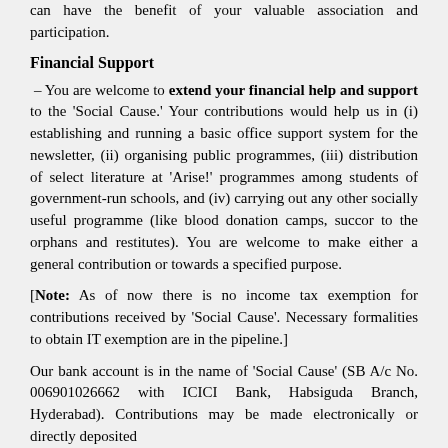can have the benefit of your valuable association and participation.
Financial Support
– You are welcome to extend your financial help and support to the 'Social Cause.' Your contributions would help us in (i) establishing and running a basic office support system for the newsletter, (ii) organising public programmes, (iii) distribution of select literature at 'Arise!' programmes among students of government-run schools, and (iv) carrying out any other socially useful programme (like blood donation camps, succor to the orphans and restitutes). You are welcome to make either a general contribution or towards a specified purpose.
[Note: As of now there is no income tax exemption for contributions received by 'Social Cause'. Necessary formalities to obtain IT exemption are in the pipeline.]
Our bank account is in the name of 'Social Cause' (SB A/c No. 006901026662 with ICICI Bank, Habsiguda Branch, Hyderabad). Contributions may be made electronically or directly deposited